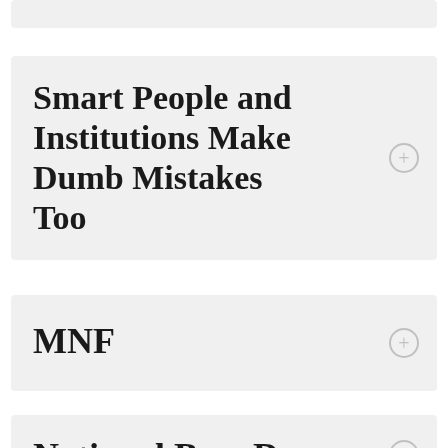Smart People and Institutions Make Dumb Mistakes Too
MNF
National Boss Day